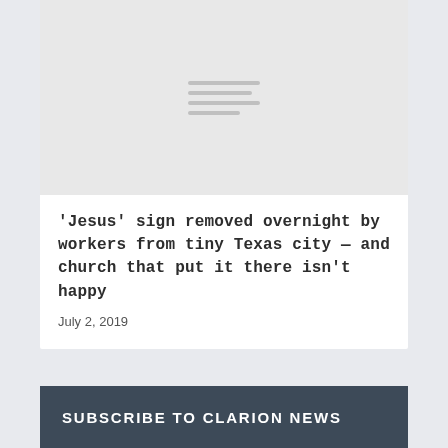[Figure (illustration): Gray placeholder image with hamburger/menu lines icon in center]
'Jesus' sign removed overnight by workers from tiny Texas city — and church that put it there isn't happy
July 2, 2019
SUBSCRIBE TO CLARION NEWS